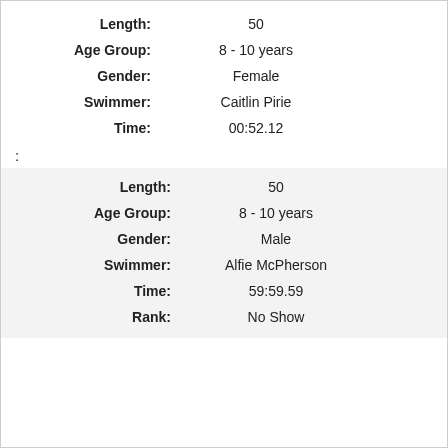Length: 50
Age Group: 8 - 10 years
Gender: Female
Swimmer: Caitlin Pirie
Time: 00:52.12
:
Length: 50
Age Group: 8 - 10 years
Gender: Male
Swimmer: Alfie McPherson
Time: 59:59.59
Rank: No Show